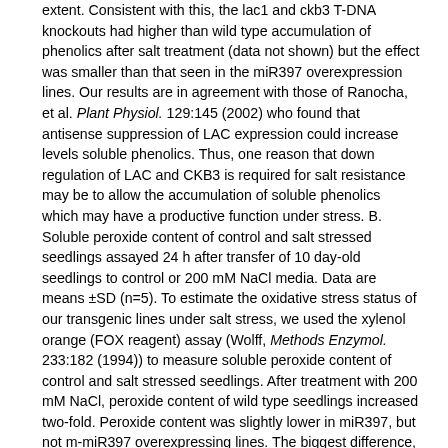extent. Consistent with this, the lac1 and ckb3 T-DNA knockouts had higher than wild type accumulation of phenolics after salt treatment (data not shown) but the effect was smaller than that seen in the miR397 overexpression lines. Our results are in agreement with those of Ranocha, et al. Plant Physiol. 129:145 (2002) who found that antisense suppression of LAC expression could increase levels soluble phenolics. Thus, one reason that down regulation of LAC and CKB3 is required for salt resistance may be to allow the accumulation of soluble phenolics which may have a productive function under stress. B. Soluble peroxide content of control and salt stressed seedlings assayed 24 h after transfer of 10 day-old seedlings to control or 200 mM NaCl media. Data are means ±SD (n=5). To estimate the oxidative stress status of our transgenic lines under salt stress, we used the xylenol orange (FOX reagent) assay (Wolff, Methods Enzymol. 233:182 (1994)) to measure soluble peroxide content of control and salt stressed seedlings. After treatment with 200 mM NaCl, peroxide content of wild type seedlings increased two-fold. Peroxide content was slightly lower in miR397, but not m-miR397 overexpressing lines. The biggest difference, however was in the LAC and CKB3 overexpressing lines which had a four fold increase in peroxide content after salt treatment. For both LAC and CKB3, overexpression of a gene lacking the miR397 target site had a greater effect on peroxide content. This increase in peroxide content raises the possibility that the increased salt sensitivity of the LAC and CKB3 overexpressing lines is caused at least in part by increased oxidative